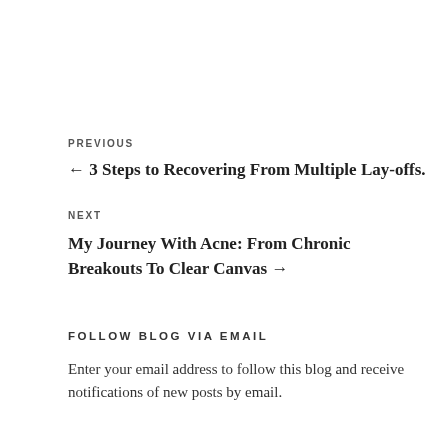PREVIOUS
← 3 Steps to Recovering From Multiple Lay-offs.
NEXT
My Journey With Acne: From Chronic Breakouts To Clear Canvas →
FOLLOW BLOG VIA EMAIL
Enter your email address to follow this blog and receive notifications of new posts by email.